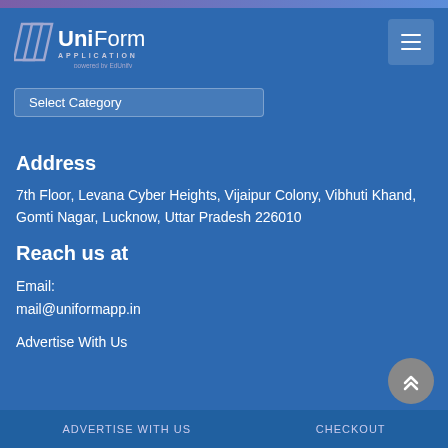UniForm Application powered by EdUnify
Select Category
Address
7th Floor, Levana Cyber Heights, Vijaipur Colony, Vibhuti Khand, Gomti Nagar, Lucknow, Uttar Pradesh 226010
Reach us at
Email:
mail@uniformapp.in
Advertise With Us
ADVERTISE WITH US    CHECKOUT